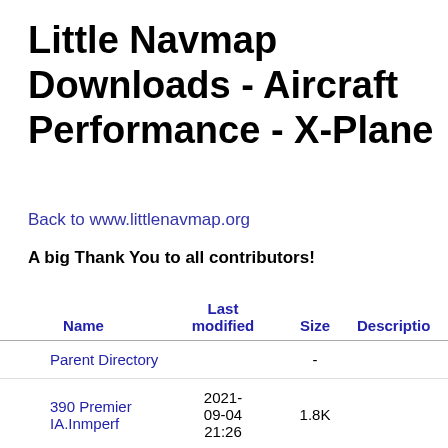Little Navmap Downloads - Aircraft Performance - X-Plane
Back to www.littlenavmap.org
A big Thank You to all contributors!
| Name | Last modified | Size | Description |
| --- | --- | --- | --- |
| Parent Directory |  | - |  |
| 390 Premier IA.Inmperf | 2021-09-04 21:26 | 1.8K |  |
|  | 2020- |  |  |